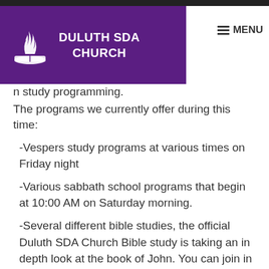DULUTH SDA CHURCH
n study programming. The programs we currently offer during this time:
-Vespers study programs at various times on Friday night
-Various sabbath school programs that begin at 10:00 AM on Saturday morning.
-Several different bible studies, the official Duluth SDA Church Bible study is taking an in depth look at the book of John. You can join in at 1:00 PM on Saturday afternoons.
If you are interested in any of these programs, please contact our pastoral staff at duluthsdachurch@gccsda.com.